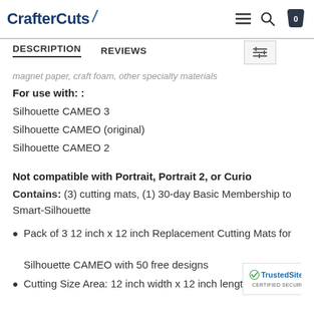CrafterCuts
DESCRIPTION   REVIEWS
magnet paper, craft foam, other specialty materials
For use with: :
Silhouette CAMEO 3
Silhouette CAMEO (original)
Silhouette CAMEO 2
Not compatible with Portrait, Portrait 2, or Curio
Contains: (3) cutting mats, (1) 30-day Basic Membership to Smart-Silhouette
Pack of 3 12 inch x 12 inch Replacement Cutting Mats for Silhouette CAMEO with 50 free designs
Cutting Size Area: 12 inch width x 12 inch length,